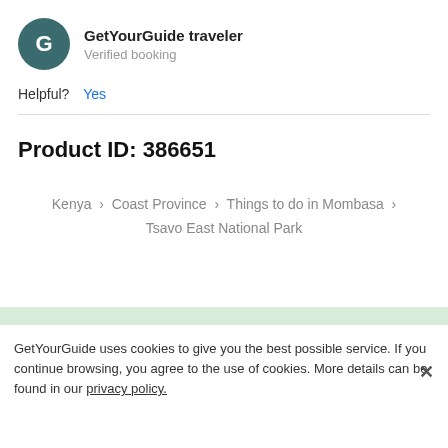GetYourGuide traveler
Verified booking
Helpful? Yes
Product ID: 386651
Kenya › Coast Province › Things to do in Mombasa › Tsavo East National Park
GetYourGuide uses cookies to give you the best possible service. If you continue browsing, you agree to the use of cookies. More details can be found in our privacy policy.